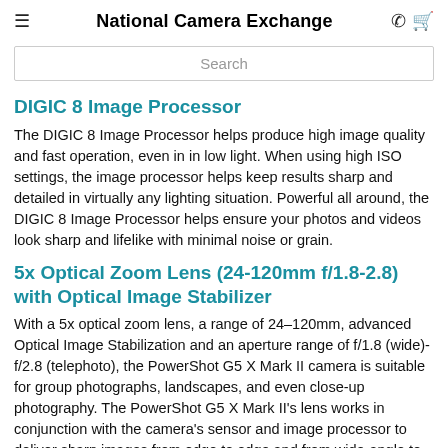≡  National Camera Exchange  📞 🛒
Search
DIGIC 8 Image Processor
The DIGIC 8 Image Processor helps produce high image quality and fast operation, even in in low light. When using high ISO settings, the image processor helps keep results sharp and detailed in virtually any lighting situation. Powerful all around, the DIGIC 8 Image Processor helps ensure your photos and videos look sharp and lifelike with minimal noise or grain.
5x Optical Zoom Lens (24-120mm f/1.8-2.8) with Optical Image Stabilizer
With a 5x optical zoom lens, a range of 24–120mm, advanced Optical Image Stabilization and an aperture range of f/1.8 (wide)- f/2.8 (telephoto), the PowerShot G5 X Mark II camera is suitable for group photographs, landscapes, and even close-up photography. The PowerShot G5 X Mark II's lens works in conjunction with the camera's sensor and image processor to deliver sharp images from edge to edge and from wide-angle to telephoto.